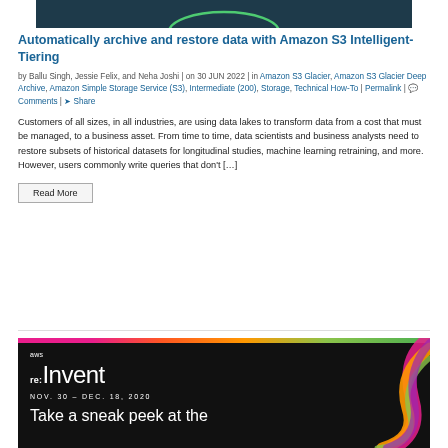[Figure (photo): Top portion of an AWS blog article header image, dark navy/teal background]
Automatically archive and restore data with Amazon S3 Intelligent-Tiering
by Ballu Singh, Jessie Felix, and Neha Joshi | on 30 JUN 2022 | in Amazon S3 Glacier, Amazon S3 Glacier Deep Archive, Amazon Simple Storage Service (S3), Intermediate (200), Storage, Technical How-To | Permalink | Comments | Share
Customers of all sizes, in all industries, are using data lakes to transform data from a cost that must be managed, to a business asset. From time to time, data scientists and business analysts need to restore subsets of historical datasets for longitudinal studies, machine learning retraining, and more. However, users commonly write queries that don't […]
Read More
[Figure (photo): AWS re:Invent promotional banner, dark background with colorful swirl art on the right. Text reads: aws re:Invent, NOV. 30 – DEC. 18, 2020, Take a sneak peek at the]